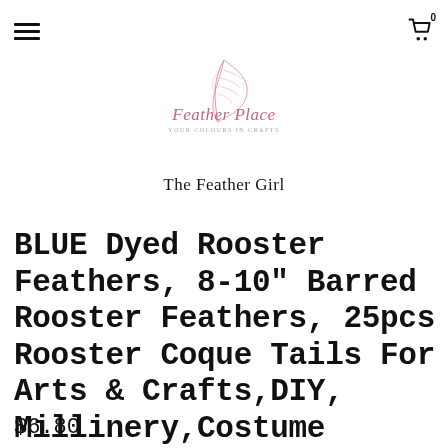≡  [cart icon] 0
[Figure (logo): Feather Place logo with pink feather illustration and cursive script text 'Feather Place' with tagline below]
The Feather Girl
BLUE Dyed Rooster Feathers, 8-10" Barred Rooster Feathers, 25pcs Rooster Coque Tails For Arts & Crafts,DIY, Millinery,Costume Design ZUCKER®
$6.80